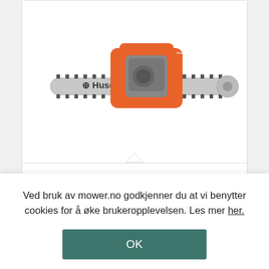[Figure (photo): Husqvarna 545 Mark II chainsaw with orange body, gray saw bar with chain, shown against white background. Husqvarna logo visible on bar.]
Husqvarna 545 Mark II
9.399 kr
Ved bruk av mower.no godkjenner du at vi benytter cookies for å øke brukeropplevelsen. Les mer her.
OK